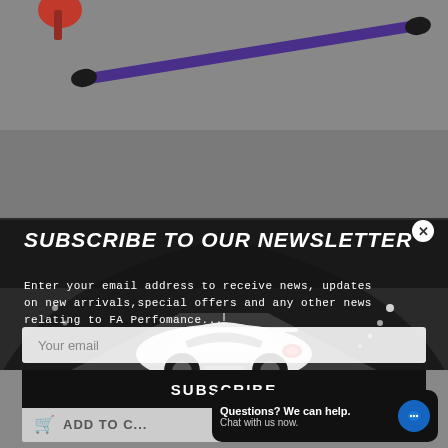[Figure (screenshot): Website screenshot showing a newsletter subscription modal popup overlaid on an automotive parts product page. The background shows a purple sway bar component (top) and a grey page below. The modal features a dark header band with white bold italic text 'SUBSCRIBE TO OUR NEWSLETTER', descriptive text about entering an email address, a car in a tunnel as background image, an email input field, and a SUBSCRIBE button. A close (X) button appears top-right of modal. Bottom of page shows an Add to Cart bar and a chat help widget.]
SUBSCRIBE TO OUR NEWSLETTER
Enter your email address to receive news, updates on new arrivals,special offers and any other news relating to FA Perfomance...
Your email
SUBSCRIBE
ADD TO C...
Questions? We can help.
Chat with us now.